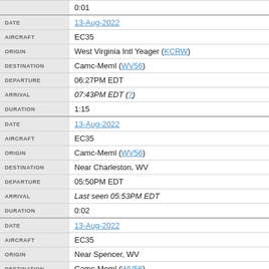| Field | Value |
| --- | --- |
| DATE | 13-Aug-2022 |
| AIRCRAFT | EC35 |
| ORIGIN | West Virginia Intl Yeager (KCRW) |
| DESTINATION | Camc-Meml (WV56) |
| DEPARTURE | 06:27PM EDT |
| ARRIVAL | 07:43PM EDT (?) |
| DURATION | 1:15 |
| DATE | 13-Aug-2022 |
| AIRCRAFT | EC35 |
| ORIGIN | Camc-Meml (WV56) |
| DESTINATION | Near Charleston, WV |
| DEPARTURE | 05:50PM EDT |
| ARRIVAL | Last seen 05:53PM EDT |
| DURATION | 0:02 |
| DATE | 13-Aug-2022 |
| AIRCRAFT | EC35 |
| ORIGIN | Near Spencer, WV |
| DESTINATION | Camc-Meml (WV56) |
| DEPARTURE | First seen 04:47PM EDT |
| ARRIVAL | Last seen 05:20PM EDT |